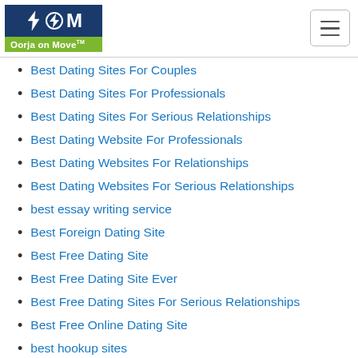[Figure (logo): Oorja on Move logo with lightning bolt icons on dark blue background and green text bar]
Best Dating Sites For Couples
Best Dating Sites For Professionals
Best Dating Sites For Serious Relationships
Best Dating Website For Professionals
Best Dating Websites For Relationships
Best Dating Websites For Serious Relationships
best essay writing service
Best Foreign Dating Site
Best Free Dating Site
Best Free Dating Site Ever
Best Free Dating Sites For Serious Relationships
Best Free Online Dating Site
best hookup sites
Best Internet Dating Site
best lesbians site
best mail order bride agency